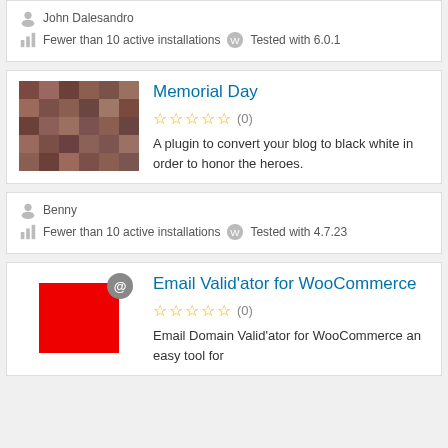John Dalesandro
Fewer than 10 active installations   Tested with 6.0.1
Memorial Day
(0) stars
A plugin to convert your blog to black white in order to honor the heroes.
Benny
Fewer than 10 active installations   Tested with 4.7.23
Email Valid'ator for WooCommerce
(0) stars
Email Domain Valid'ator for WooCommerce an easy tool for